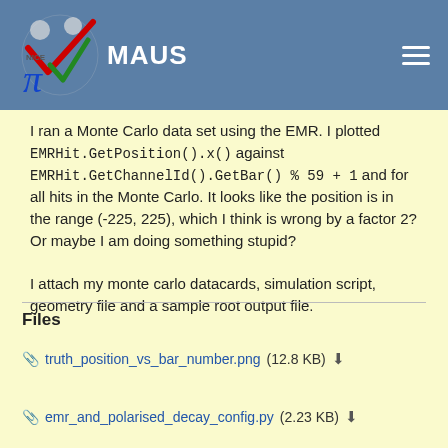MAUS
I ran a Monte Carlo data set using the EMR. I plotted EMRHit.GetPosition().x() against EMRHit.GetChannelId().GetBar() % 59 + 1 and for all hits in the Monte Carlo. It looks like the position is in the range (-225, 225), which I think is wrong by a factor 2? Or maybe I am doing something stupid?

I attach my monte carlo datacards, simulation script, geometry file and a sample root output file.
Files
truth_position_vs_bar_number.png (12.8 KB)
emr_and_polarised_decay_config.py (2.23 KB)